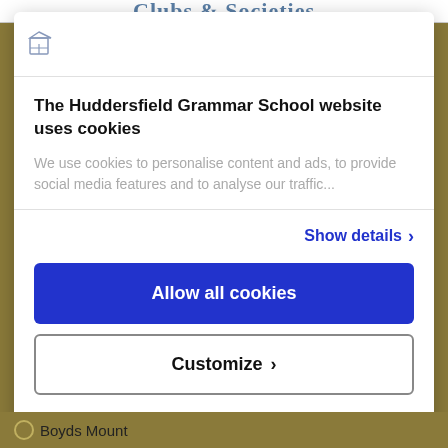Clubs & Societies
[Figure (logo): Huddersfield Grammar School logo icon]
The Huddersfield Grammar School website uses cookies
We use cookies to personalise content and ads, to provide social media features and to analyse our traffic...
Show details >
Allow all cookies
Customize >
Powered by Cookiebot by Usercentrics
Boyds Mount